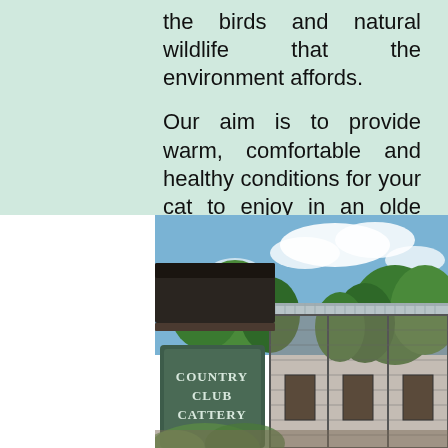the birds and natural wildlife that the environment affords.

Our aim is to provide warm, comfortable and healthy conditions for your cat to enjoy in an olde worlde setting.
[Figure (photo): Photograph of Country Club Cattery showing a dark wooden sign reading 'COUNTRY CLUB CATTERY' in the foreground, with a cattery building featuring wire mesh runs and corrugated metal roof visible behind, surrounded by trees under a blue sky with clouds.]